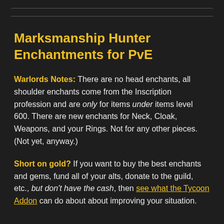Marksmanship Hunter Enchantments for PvE
Warlords Notes: There are no head enchants, all shoulder enchants come from the Inscription profession and are only for items under items level 600. There are new enchants for Neck, Cloak, Weapons, and your Rings. Not for any other pieces. (Not yet, anyway.)
Short on gold? If you want to buy the best enchants and gems, fund all of your alts, donate to the guild, etc., but don't have the cash, then see what the Tycoon Addon can do about about improving your situation.